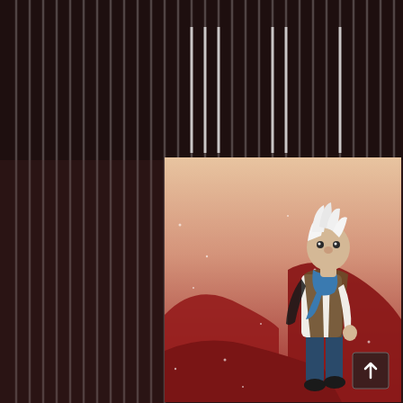[Figure (illustration): Manga/webtoon style illustration. Left portion of the page has a dark brownish-red background with thin white vertical stripes. The main panel (right-center to bottom) shows an anime character with white spiky hair, wearing a brown vest over a white shirt with a blue scarf, dark blue pants, and black shoes. The character stands in a reddish-pink landscape with rock formations and scattered star-like dots. The background sky fades from peach/tan at top to deep red at bottom. A small square scroll-to-top button with an upward arrow is visible at bottom-right.]